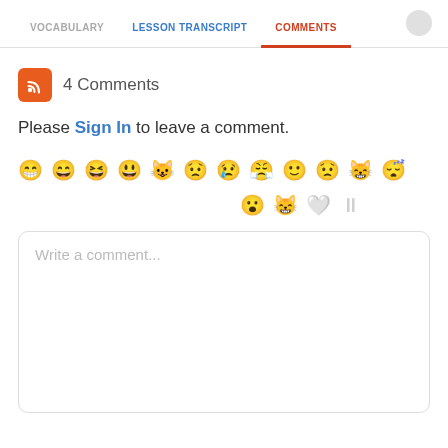VOCABULARY   LESSON TRANSCRIPT   COMMENTS
4 Comments
Please Sign In to leave a comment.
[Figure (other): Row of emoji/smiley face icons in light gray]
Write a comment...